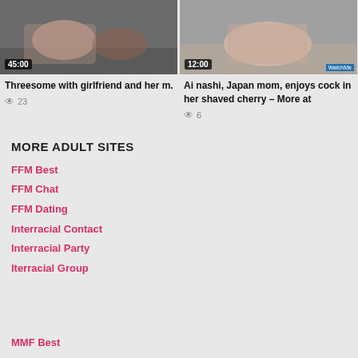[Figure (photo): Video thumbnail left: 45:00 duration, dark toned scene]
Threesome with girlfriend and her m.
👁 23
[Figure (photo): Video thumbnail right: 12:00 duration, lighter scene with watermark]
Ai nashi, Japan mom, enjoys cock in her shaved cherry – More at
👁 6
MORE ADULT SITES
FFM Best
FFM Chat
FFM Dating
Interracial Contact
Interracial Party
Iterracial Group
MMF Best